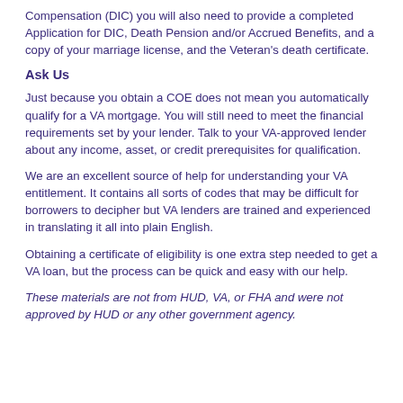Compensation (DIC) you will also need to provide a completed Application for DIC, Death Pension and/or Accrued Benefits, and a copy of your marriage license, and the Veteran's death certificate.
Ask Us
Just because you obtain a COE does not mean you automatically qualify for a VA mortgage. You will still need to meet the financial requirements set by your lender. Talk to your VA-approved lender about any income, asset, or credit prerequisites for qualification.
We are an excellent source of help for understanding your VA entitlement. It contains all sorts of codes that may be difficult for borrowers to decipher but VA lenders are trained and experienced in translating it all into plain English.
Obtaining a certificate of eligibility is one extra step needed to get a VA loan, but the process can be quick and easy with our help.
These materials are not from HUD, VA, or FHA and were not approved by HUD or any other government agency.